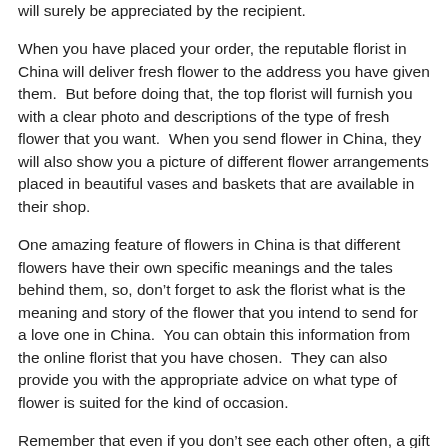will surely be appreciated by the recipient.
When you have placed your order, the reputable florist in China will deliver fresh flower to the address you have given them.  But before doing that, the top florist will furnish you with a clear photo and descriptions of the type of fresh flower that you want.  When you send flower in China, they will also show you a picture of different flower arrangements placed in beautiful vases and baskets that are available in their shop.
One amazing feature of flowers in China is that different flowers have their own specific meanings and the tales behind them, so, don't forget to ask the florist what is the meaning and story of the flower that you intend to send for a love one in China.  You can obtain this information from the online florist that you have chosen.  They can also provide you with the appropriate advice on what type of flower is suited for the kind of occasion.
Remember that even if you don't see each other often, a gift of flower can make things different.  Your presence can be felt at all times especially if you send flower within China in every occasion regardless of your distance.  It doesn't really matter how big or